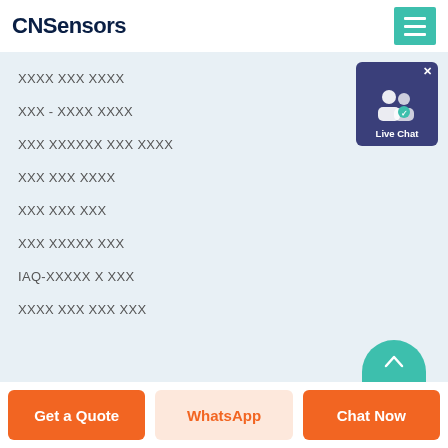CNSensors
󿿿󿿿󿿿 󿿿󿿿 󿿿󿿿󿿿
󿿿󿿿 - 󿿿󿿿󿿿 󿿿󿿿󿿿
󿿿󿿿 󿿿󿿿󿿿󿿿 󿿿󿿿 󿿿󿿿󿿿
󿿿󿿿 󿿿󿿿 󿿿󿿿󿿿
󿿿󿿿 󿿿󿿿 󿿿󿿿
󿿿󿿿 󿿿󿿿󿿿 󿿿󿿿
IAQ- 󿿿󿿿󿿿 󿿿 󿿿󿿿
󿿿󿿿󿿿 󿿿󿿿 󿿿󿿿 󿿿󿿿